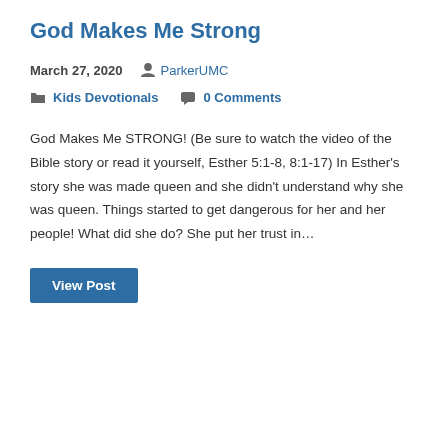God Makes Me Strong
March 27, 2020   ParkerUMC
Kids Devotionals   0 Comments
God Makes Me STRONG! (Be sure to watch the video of the Bible story or read it yourself, Esther 5:1-8, 8:1-17) In Esther's story she was made queen and she didn't understand why she was queen. Things started to get dangerous for her and her people! What did she do? She put her trust in…
View Post